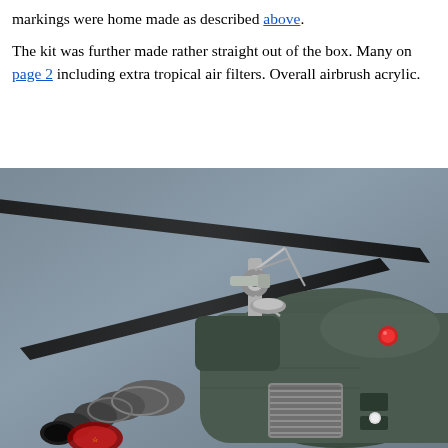markings were home made as described above.
The kit was further made rather straight out of the box. Many on page 2 including extra tropical air filters. Overall airbrush acrylic.
[Figure (photo): Close-up photograph of a scale model helicopter, showing the rotor hub, rotor blades, exhaust pipes, air filter/cooler unit, and fuselage details including a badge/decal. The model is painted in dark olive/grey and has metallic detail parts.]